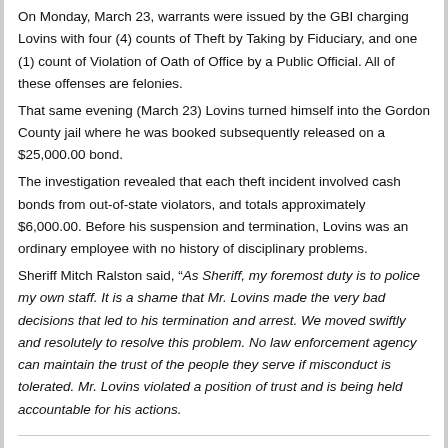On Monday, March 23, warrants were issued by the GBI charging Lovins with four (4) counts of Theft by Taking by Fiduciary, and one (1) count of Violation of Oath of Office by a Public Official. All of these offenses are felonies.
That same evening (March 23) Lovins turned himself into the Gordon County jail where he was booked subsequently released on a $25,000.00 bond.
The investigation revealed that each theft incident involved cash bonds from out-of-state violators, and totals approximately $6,000.00. Before his suspension and termination, Lovins was an ordinary employee with no history of disciplinary problems.
Sheriff Mitch Ralston said, “As Sheriff, my foremost duty is to police my own staff. It is a shame that Mr. Lovins made the very bad decisions that led to his termination and arrest. We moved swiftly and resolutely to resolve this problem. No law enforcement agency can maintain the trust of the people they serve if misconduct is tolerated. Mr. Lovins violated a position of trust and is being held accountable for his actions.